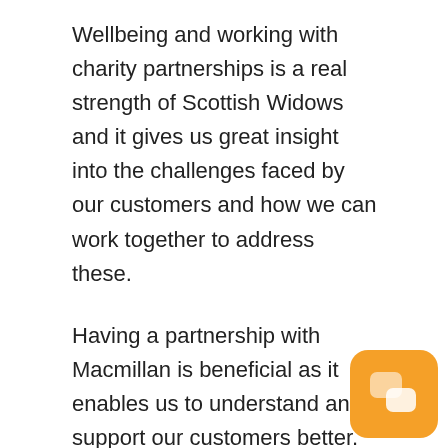Wellbeing and working with charity partnerships is a real strength of Scottish Widows and it gives us great insight into the challenges faced by our customers and how we can work together to address these.
Having a partnership with Macmillan is beneficial as it enables us to understand and support our customers better. Especially since 63% of our critical illness claims are related to cancer. According to Macmillan, four out of five people with cancer will on average be £570 per mor worse off as a result of their diagnosis.** Th increase is often caused by a combination of
[Figure (other): Orange rounded square chat/messaging icon in the bottom-right corner]